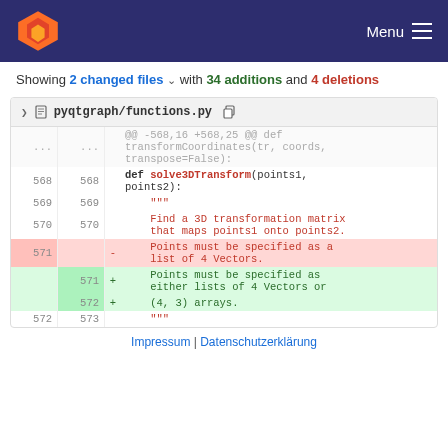GitLab header with logo and Menu button
Showing 2 changed files with 34 additions and 4 deletions
pyqtgraph/functions.py
| old | new | sign | code |
| --- | --- | --- | --- |
| ... | ... |  | @@ -568,16 +568,25 @@ def transformCoordinates(tr, coords, transpose=False): |
| 568 | 568 |  | def solve3DTransform(points1, points2): |
| 569 | 569 |  | """ |
| 570 | 570 |  | Find a 3D transformation matrix that maps points1 onto points2. |
| 571 |  | - | Points must be specified as a list of 4 Vectors. |
|  | 571 | + | Points must be specified as either lists of 4 Vectors or |
|  | 572 | + | (4, 3) arrays. |
| 572 | 573 |  | """ |
Impressum | Datenschutzerklärung